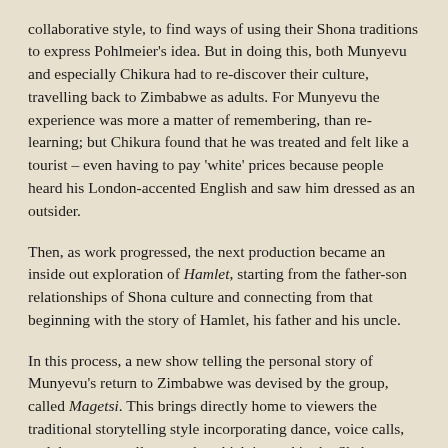collaborative style, to find ways of using their Shona traditions to express Pohlmeier's idea.  But in doing this, both Munyevu and especially Chikura had to re-discover their culture, travelling back to Zimbabwe as adults.  For Munyevu the experience was more a matter of remembering, than re-learning; but Chikura found that he was treated and felt like a tourist – even having to pay 'white' prices because people heard his London-accented English and saw him dressed as an outsider.
Then, as work progressed, the next production became an inside out exploration of Hamlet, starting from the father-son relationships of Shona culture and connecting from that beginning with the story of Hamlet, his father and his uncle.
In this process, a new show telling the personal story of Munyevu's return to Zimbabwe was devised by the group, called Magetsi.  This brings directly home to viewers the traditional storytelling style incorporating dance, voice calls, and drums, as well as words, which is used  in the Shakespeare works, now also including The Moors Project focussing on the black characters in Shakespeare's plays: Othello, the Prince of Morocco from The Merchant of Venice